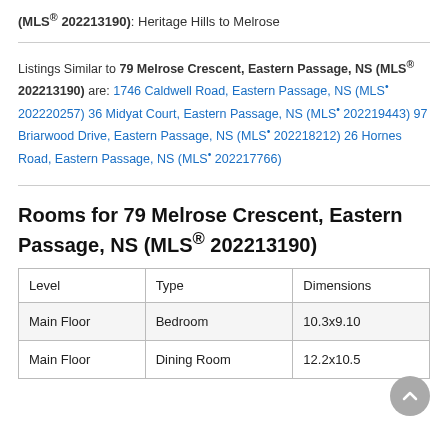(MLS® 202213190): Heritage Hills to Melrose
Listings Similar to 79 Melrose Crescent, Eastern Passage, NS (MLS® 202213190) are: 1746 Caldwell Road, Eastern Passage, NS (MLS• 202220257) 36 Midyat Court, Eastern Passage, NS (MLS• 202219443) 97 Briarwood Drive, Eastern Passage, NS (MLS• 202218212) 26 Hornes Road, Eastern Passage, NS (MLS• 202217766)
Rooms for 79 Melrose Crescent, Eastern Passage, NS (MLS® 202213190)
| Level | Type | Dimensions |
| --- | --- | --- |
| Main Floor | Bedroom | 10.3x9.10 |
| Main Floor | Dining Room | 12.2x10.5 |